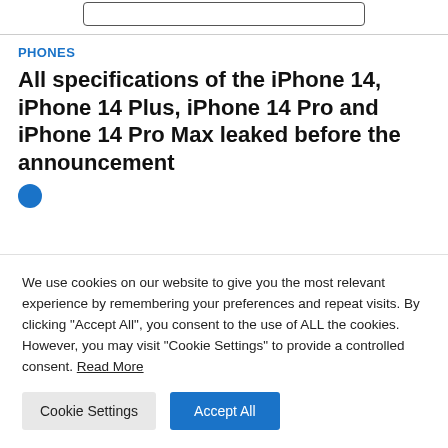[Figure (other): Search input box at top of page]
PHONES
All specifications of the iPhone 14, iPhone 14 Plus, iPhone 14 Pro and iPhone 14 Pro Max leaked before the announcement
We use cookies on our website to give you the most relevant experience by remembering your preferences and repeat visits. By clicking "Accept All", you consent to the use of ALL the cookies. However, you may visit "Cookie Settings" to provide a controlled consent. Read More
Cookie Settings | Accept All